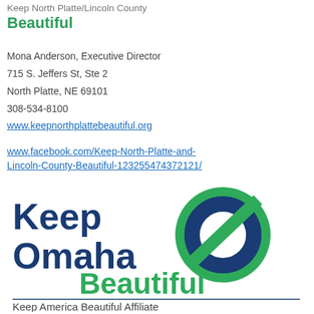Keep North Platte/Lincoln County Beautiful
Mona Anderson, Executive Director
715 S. Jeffers St, Ste 2
North Platte, NE 69101
308-534-8100
www.keepnorthplattebeautiful.org
www.facebook.com/Keep-North-Platte-and-Lincoln-County-Beautiful-123255474372121/
[Figure (logo): Keep Omaha Beautiful logo — blue text 'Keep Omaha' with a green leaf/circle icon, green text 'Beautiful', tagline 'Keep America Beautiful Affiliate']